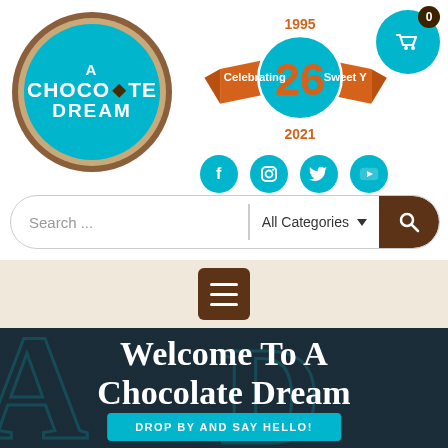[Figure (logo): A Chocolate Dream circular logo with teal background, brown border, and white text]
[Figure (logo): Anniversary badge celebrating 26 years (1995-2021) with orange ribbon and teal circle, plus social media icons]
[Figure (screenshot): Search bar with All Categories dropdown and brown search button]
[Figure (screenshot): Beige navigation bar with brown hamburger menu button]
Welcome To A Chocolate Dream
DROP BY AND SAY HELLO!